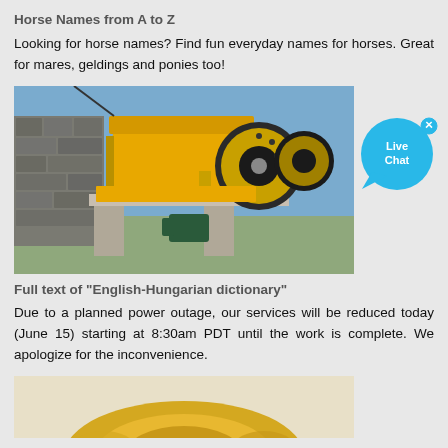Horse Names from A to Z
Looking for horse names? Find fun everyday names for horses. Great for mares, geldings and ponies too!
[Figure (photo): Yellow industrial jaw crusher machine mounted on concrete structure outdoors, with stone wall and blue sky in background.]
Full text of "English-Hungarian dictionary"
Due to a planned power outage, our services will be reduced today (June 15) starting at 8:30am PDT until the work is complete. We apologize for the inconvenience.
[Figure (photo): Partial view of golden/yellow object at bottom of page, partially cut off.]